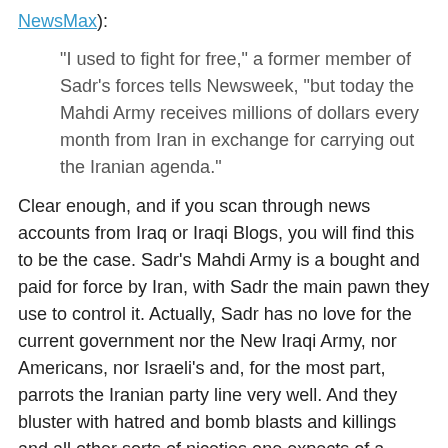NewsMax):
"I used to fight for free," a former member of Sadr's forces tells Newsweek, "but today the Mahdi Army receives millions of dollars every month from Iran in exchange for carrying out the Iranian agenda."
Clear enough, and if you scan through news accounts from Iraq or Iraqi Blogs, you will find this to be the case. Sadr's Mahdi Army is a bought and paid for force by Iran, with Sadr the main pawn they use to control it. Actually, Sadr has no love for the current government nor the New Iraqi Army, nor Americans, nor Israeli's and, for the most part, parrots the Iranian party line very well. And they bluster with hatred and bomb blasts and killings and all other sorts of niceties one expects of a bought and paid for thug.
A word from one of his current followers (26 JUL 2006 Threatswatch.org)[bolding mine]:
Meanwhile, Sadr's followers in parliament pressed his case and made the gravest threats